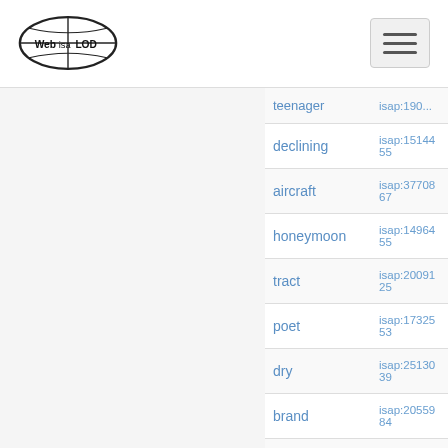Web isa LOD
| term | id |
| --- | --- |
| teenager | isap:190... |
| declining | isap:1514455 |
| aircraft | isap:3770867 |
| honeymoon | isap:1496455 |
| tract | isap:2009125 |
| poet | isap:1732553 |
| dry | isap:2513039 |
| brand | isap:2055984 |
| bee | isap:2516867 |
| siege | isap:1947822 |
| aura | isap:1740060 |